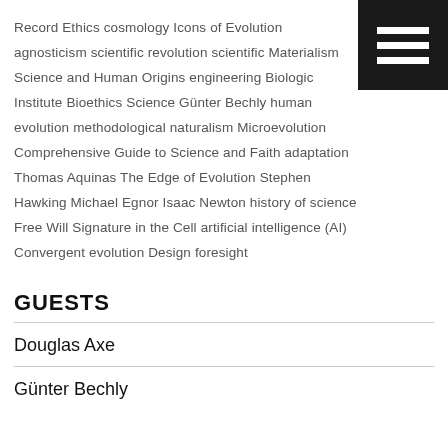Record Ethics  cosmology  Icons of Evolution  agnosticism  scientific revolution  scientific Materialism  Science and Human Origins  engineering  Biologic Institute  Bioethics  Science  Günter Bechly  human evolution  methodological naturalism  Microevolution  Comprehensive Guide to Science and Faith  adaptation  Thomas Aquinas  The Edge of Evolution  Stephen Hawking  Michael Egnor  Isaac Newton  history of science  Free Will  Signature in the Cell  artificial intelligence (AI)  Convergent evolution  Design foresight
[Figure (other): Menu icon — three white horizontal bars on black background, top-right corner]
GUESTS
Douglas Axe
Günter Bechly